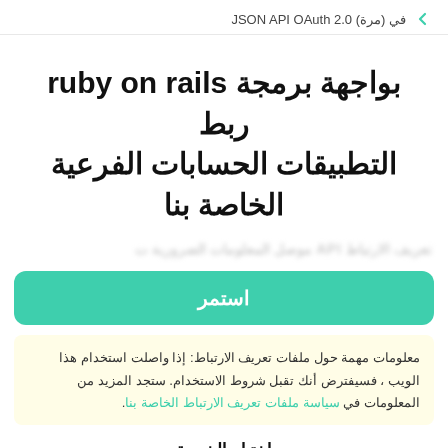JSON API OAuth 2.0 (مرة) في
ربط ruby on rails بواجهة برمجة التطبيقات الحسابات الفرعية الخاصة بنا
[blurred/obscured text line]
[Figure (other): Green 'استمر' (Continue) button]
معلومات مهمة حول ملفات تعريف الارتباط: إذا واصلت استخدام هذا الويب ، فسيفترض أنك تقبل شروط الاستخدام. ستجد المزيد من المعلومات في سياسة ملفات تعريف الارتباط الخاصة بنا.
اختيار الخدمة